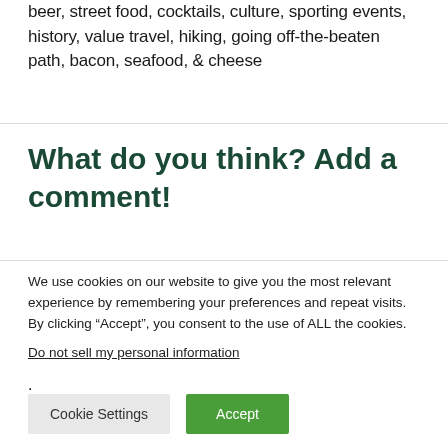beer, street food, cocktails, culture, sporting events, history, value travel, hiking, going off-the-beaten path, bacon, seafood, & cheese
What do you think? Add a comment!
We use cookies on our website to give you the most relevant experience by remembering your preferences and repeat visits. By clicking “Accept”, you consent to the use of ALL the cookies.
Do not sell my personal information.